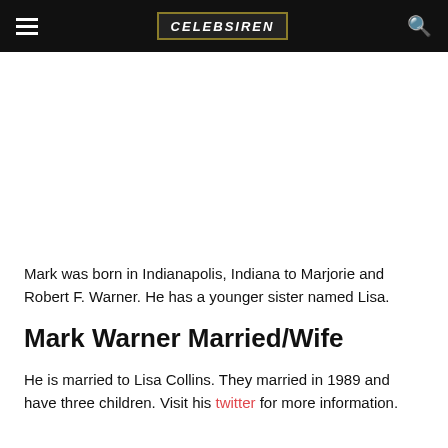CELEBSIREN
Mark was born in Indianapolis, Indiana to Marjorie and Robert F. Warner. He has a younger sister named Lisa.
Mark Warner Married/Wife
He is married to Lisa Collins. They married in 1989 and have three children. Visit his twitter for more information.